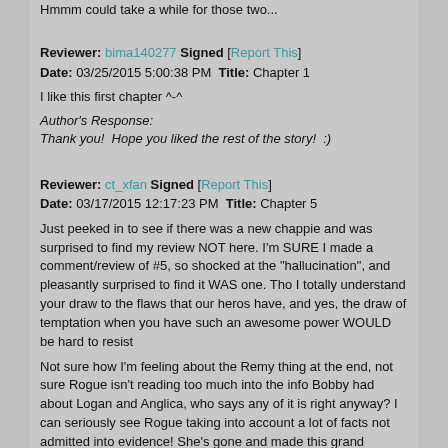Hmmm could take a while for those two...
Reviewer: bima140277 Signed [Report This]
Date: 03/25/2015 5:00:38 PM Title: Chapter 1
I like this first chapter ^-^
Author's Response:
Thank you!  Hope you liked the rest of the story!  :)
Reviewer: ct_xfan Signed [Report This]
Date: 03/17/2015 12:17:23 PM Title: Chapter 5
Just peeked in to see if there was a new chappie and was surprised to find my review NOT here. I'm SURE I made a comment/review of #5, so shocked at the "hallucination", and pleasantly surprised to find it WAS one. Tho I totally understand your draw to the flaws that our heros have, and yes, the draw of temptation when you have such an awesome power WOULD be hard to resist
Not sure how I'm feeling about the Remy thing at the end, not sure Rogue isn't reading too much into the info Bobby had about Logan and Anglica, who says any of it is right anyway? I can seriously see Rogue taking into account a lot of facts not admitted into evidence! She's gone and made this grand decision for them and maybe it's completely skewed? I guess we'll see, huh?
Keep 'em comin', RogueLotus!!
Author's Response: